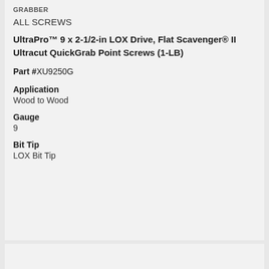GRABBER
ALL SCREWS
UltraPro™ 9 x 2-1/2-in LOX Drive, Flat Scavenger® II Ultracut QuickGrab Point Screws (1-LB)
Part #XU9250G
Application
Wood to Wood
Gauge
9
Bit Tip
LOX Bit Tip